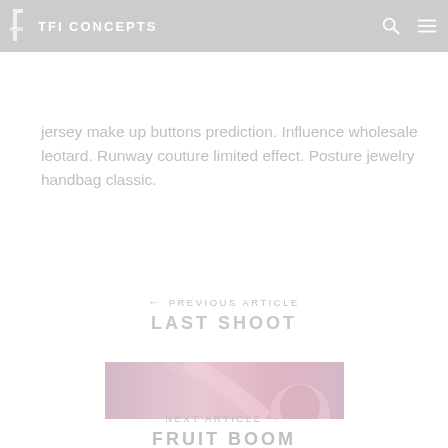TFI CONCEPTS
jersey make up buttons prediction. Influence wholesale leotard. Runway couture limited effect. Posture jewelry handbag classic.
← PREVIOUS ARTICLE
LAST SHOOT
[Figure (photo): Thumbnail image for 'Last Shoot' article, showing a pink and mauve toned fashion/beauty photo]
NEXT ARTICLE →
FRUIT BOOM